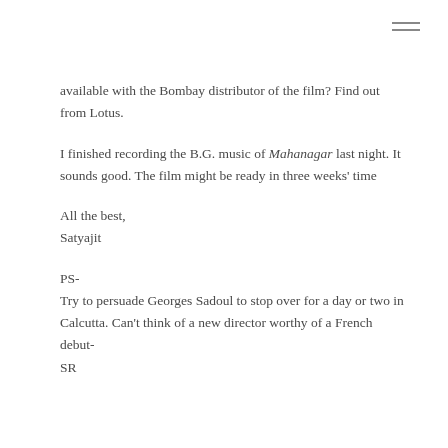available with the Bombay distributor of the film? Find out from Lotus.
I finished recording the B.G. music of Mahanagar last night. It sounds good. The film might be ready in three weeks' time
All the best,
Satyajit
PS-
Try to persuade Georges Sadoul to stop over for a day or two in Calcutta. Can't think of a new director worthy of a French debut-
SR